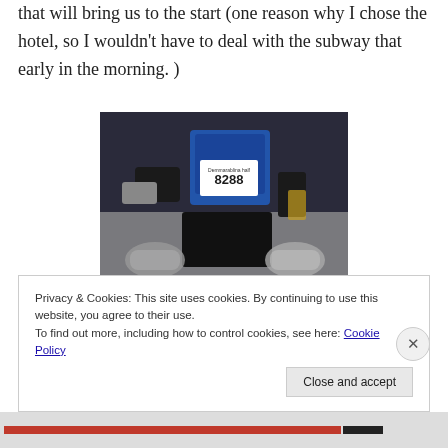that will bring us to the start (one reason why I chose the hotel, so I wouldn't have to deal with the subway that early in the morning. )
[Figure (photo): Running gear laid out on a bed: blue running vest with race number 8288, black shorts, gloves, socks, and other accessories]
Privacy & Cookies: This site uses cookies. By continuing to use this website, you agree to their use.
To find out more, including how to control cookies, see here: Cookie Policy
Close and accept